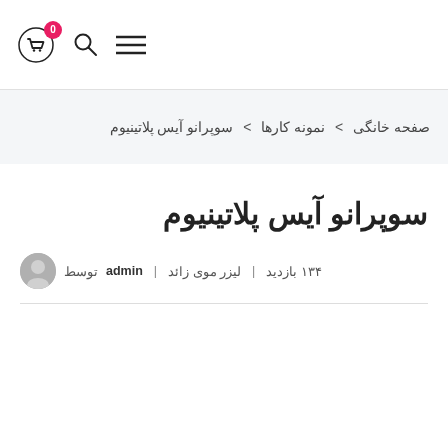0 | [cart icon] [search icon] [menu icon]
صفحه خانگی > نمونه کارها > سوپرانو آیس پلاتینیوم
سوپرانو آیس پلاتینیوم
توسط admin | لیزر موی زائد | ۱۳۴ بازدید